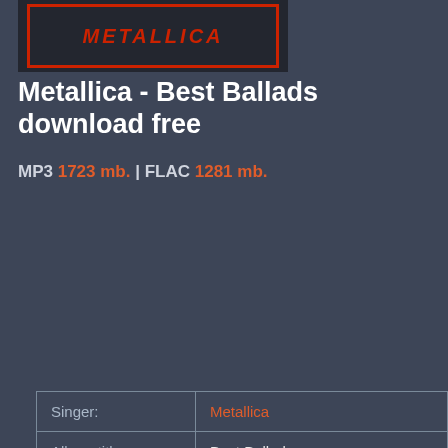[Figure (illustration): Metallica logo/album art with red border on dark background]
Metallica - Best Ballads download free
MP3 1723 mb. | FLAC 1281 mb.
| Field | Value |
| --- | --- |
| Singer: | Metallica |
| Album title: | Best Ballads |
| Country: | Bulgaria |
| Style: | Heavy Metal |
| Category: | Rock / Pop |
| Rating: | 4.6 ♦ |
| Other format: | MP1 APE AA AIFF AHX DMF AU |